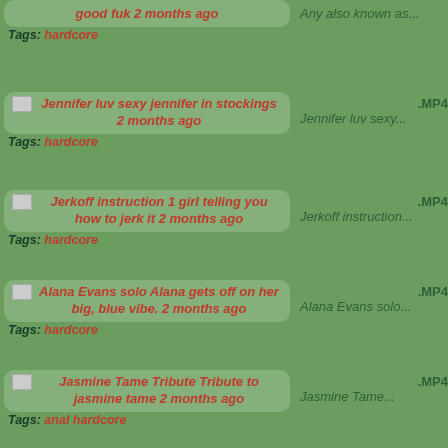good fuk 2 months ago | Tags: hardcore
Jennifer luv sexy jennifer in stockings 2 months ago | Jennifer luv sexy... | .MP4 | Tags: hardcore
Jerkoff instruction 1 girl telling you how to jerk it 2 months ago | Jerkoff instruction... | .MP4 | Tags: hardcore
Alana Evans solo Alana gets off on her big, blue vibe. 2 months ago | Alana Evans solo... | .MP4 | Tags: hardcore
Jasmine Tame Tribute Tribute to jasmine tame 2 months ago | Jasmine Tame... | .MP4 | Tags: anal hardcore
Handjob in the city mature wanking a complete stranger in public 2 months ago | Handjob in the city... | .MP4 | Tags: hardcore mature
Hot Katie Morgan fuck hot fuck of Katie Morgan 2 months ago | Hot Katie Morgan... | .MP4 | Tags: hardcore